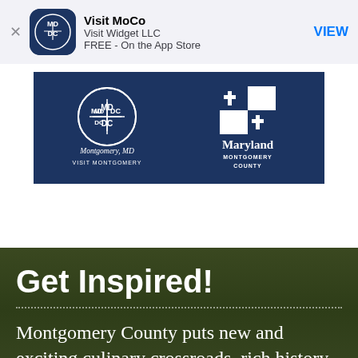[Figure (screenshot): App Store banner for Visit MoCo app by Visit Widget LLC, free on App Store, with VIEW button]
[Figure (logo): Navy blue banner showing Visit Montgomery (Montgomery MD) logo on left and Maryland Montgomery County logo on right, white text on dark navy background]
Get Inspired!
Montgomery County puts new and exciting culinary crossroads, rich history